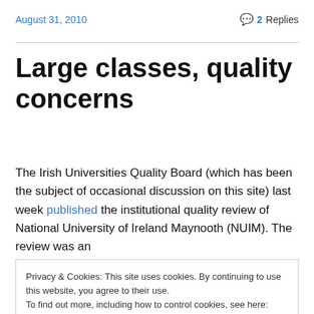August 31, 2010   💬 2 Replies
Large classes, quality concerns
The Irish Universities Quality Board (which has been the subject of occasional discussion on this site) last week published the institutional quality review of National University of Ireland Maynooth (NUIM). The review was an
Privacy & Cookies: This site uses cookies. By continuing to use this website, you agree to their use.
To find out more, including how to control cookies, see here: Cookie Policy
the report.